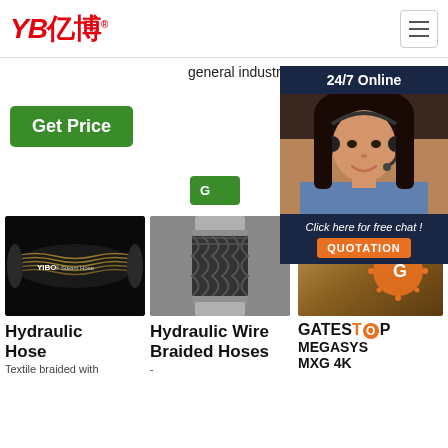[Figure (logo): YB亿博 company logo in red, with registered trademark symbol]
[Figure (illustration): Hamburger menu icon button in top right]
general industrial fluid
[Figure (other): 24/7 Online chat overlay with agent photo, 'Click here for free chat!' text and QUOTATION button]
[Figure (other): Green 'Get Price' button]
[Figure (photo): YIBO Steam Hose - black hydraulic hose with gold braiding]
Hydraulic Hose
Textile braided with
[Figure (photo): Hydraulic Wire Braided Hose close-up photo showing metal braiding]
Hydraulic Wire Braided Hoses
-
[Figure (logo): Gates TOP logo with orange circle and dots, followed by MEGASYS MXG 4K text]
GATESTOP MEGASYS MXG 4K